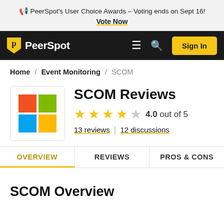🔔 PeerSpot's User Choice Awards – Voting ends on Sept 16! Vote Now
[Figure (logo): PeerSpot navigation bar with logo, hamburger menu, search icon, and Sign In button]
Home / Event Monitoring / SCOM
SCOM Reviews
4.0 out of 5 — 13 reviews | 12 discussions
OVERVIEW  REVIEWS  PROS & CONS
SCOM Overview